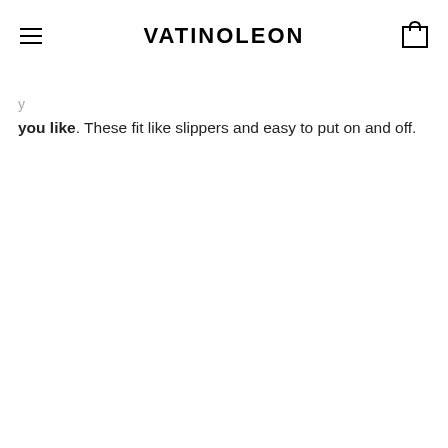VATINOLEON
you like. These fit like slippers and easy to put on and off.